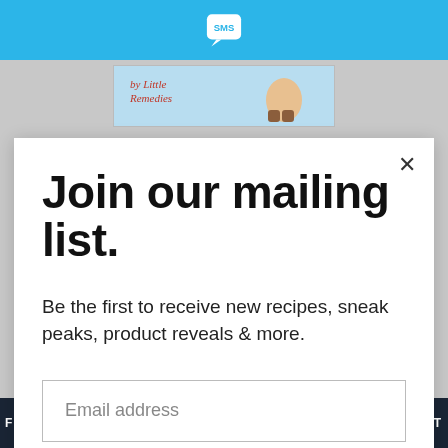SMS
[Figure (logo): Little Remedies advertisement banner with cartoon character]
Join our mailing list.
Be the first to receive new recipes, sneak peaks, product reveals & more.
Email address
Subscribe
CLOSE
16 COMMENTS
FOCCACIA HAMBURGER BUNS, MOM BLOGGING CONTEST